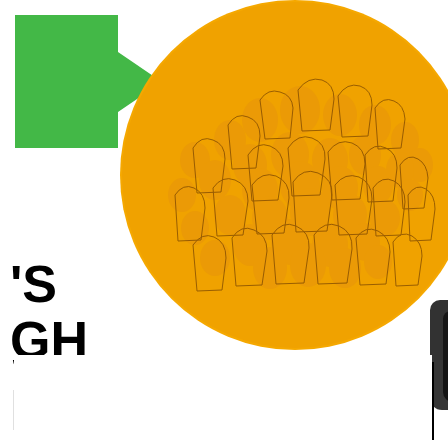[Figure (screenshot): A video thumbnail showing a large yellow circle with crowded illustrated figures inside it, a green arrow/logo in the upper left, large bold black text on the left side reading partial letters 'S GH IN ORLD VERYONE...' and a dark rounded play button in the center of the circle. Below the thumbnail is a solid black bar.]
The video is nice and punchy, and the idea of four big 'ifs' is neat, although you can practically hear the echo of the long committee discussions that